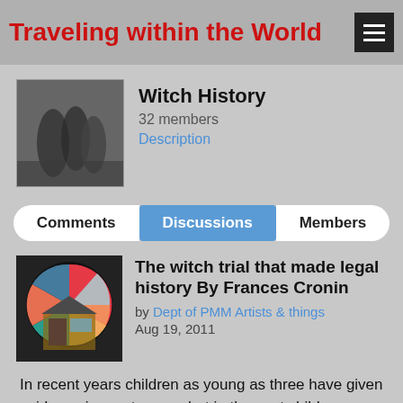Traveling within the World
Witch History
32 members
Description
Comments | Discussions | Members
The witch trial that made legal history By Frances Cronin
by Dept of PMM Artists & things
Aug 19, 2011
In recent years children as young as three have given evidence in court cases, but in the past children under 14 were seen as unreliable witnesses. A notorious 17th Century witch trial changed that.
[Figure (photo): Partial bottom image of a historical witch trial illustration]